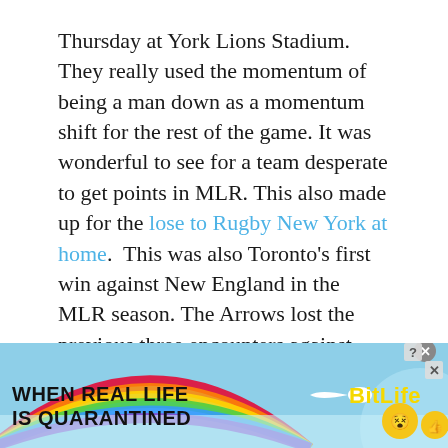Thursday at York Lions Stadium. They really used the momentum of being a man down as a momentum shift for the rest of the game. It was wonderful to see for a team desperate to get points in MLR. This also made up for the lose to Rugby New York at home.  This was also Toronto's first win against New England in the MLR season. The Arrows lost the previous three encounters against New England, including one game earlier this year in New England.

For New England, they failed to make MLR history. If they won at York Lions Stadium, they would have won 11-straight games. This would have tied for the all-time MLR winning streak record, which the LA Giltinis accomplished last year.
[Figure (other): Advertisement banner for BitLife game: rainbow graphic on left, bold black text 'WHEN REAL LIFE IS QUARANTINED', BitLife logo text in yellow, cartoon emoji characters on right side]